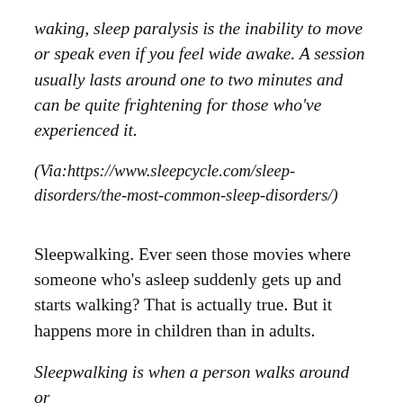waking, sleep paralysis is the inability to move or speak even if you feel wide awake. A session usually lasts around one to two minutes and can be quite frightening for those who've experienced it.
(Via:https://www.sleepcycle.com/sleep-disorders/the-most-common-sleep-disorders/)
Sleepwalking. Ever seen those movies where someone who's asleep suddenly gets up and starts walking? That is actually true. But it happens more in children than in adults.
Sleepwalking is when a person walks around or